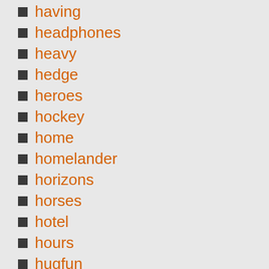having
headphones
heavy
hedge
heroes
hockey
home
homelander
horizons
horses
hotel
hours
hugfun
ignoring
ikea
indoor
info
inkivy
install
interactive
interior
introducing
isley
items